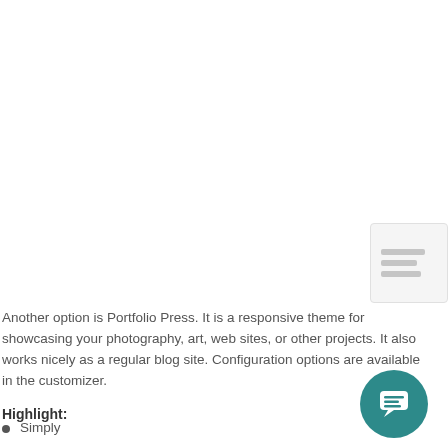[Figure (screenshot): Screenshot area of a website/theme preview, mostly white/blank in this crop, with a small thumbnail/widget panel visible at the right edge showing a list-style preview icon]
Another option is Portfolio Press. It is a responsive theme for showcasing your photography, art, web sites, or other projects. It also works nicely as a regular blog site. Configuration options are available in the customizer.
Highlight:
Simply